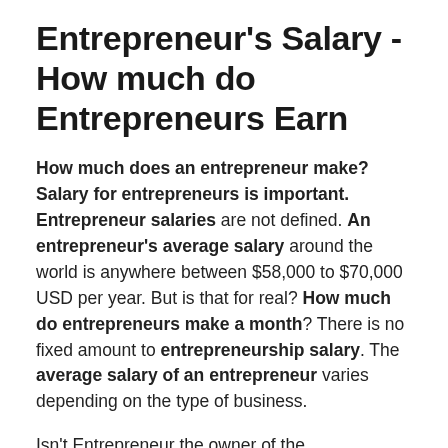Entrepreneur's Salary - How much do Entrepreneurs Earn
How much does an entrepreneur make? Salary for entrepreneurs is important. Entrepreneur salaries are not defined. An entrepreneur's average salary around the world is anywhere between $58,000 to $70,000 USD per year. But is that for real? How much do entrepreneurs make a month? There is no fixed amount to entrepreneurship salary. The average salary of an entrepreneur varies depending on the type of business.
Isn't Entrepreneur the owner of the